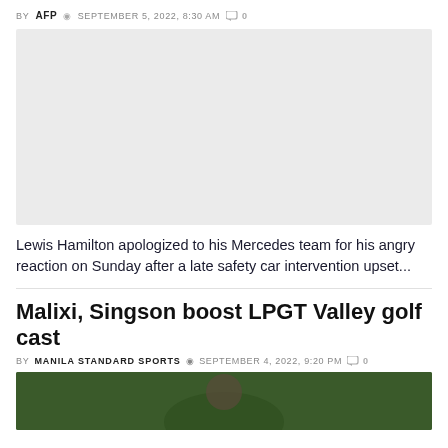BY AFP  SEPTEMBER 5, 2022, 8:30 AM  0
[Figure (photo): Gray placeholder image for article about Lewis Hamilton]
Lewis Hamilton apologized to his Mercedes team for his angry reaction on Sunday after a late safety car intervention upset...
Malixi, Singson boost LPGT Valley golf cast
BY MANILA STANDARD SPORTS  SEPTEMBER 4, 2022, 9:20 PM  0
[Figure (photo): Partial photo showing a golf-related image with green background]